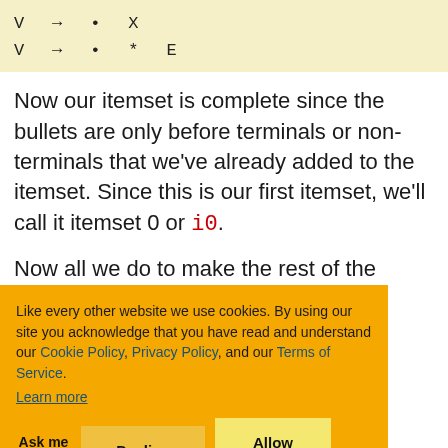V → • X
V → • * E
Now our itemset is complete since the bullets are only before terminals or non-terminals that we've already added to the itemset. Since this is our first itemset, we'll call it itemset 0 or i0.
Now all we do to make the rest of the itemsets is ... itemset and ... rules. Don't ... entry in the ... is the second ... ing to create ... hat move:
We don't need to actually parse it with input. We only need to
Like every other website we use cookies. By using our site you acknowledge that you have read and understand our Cookie Policy, Privacy Policy, and our Terms of Service. Learn more
Ask me later | Decline | Allow cookies